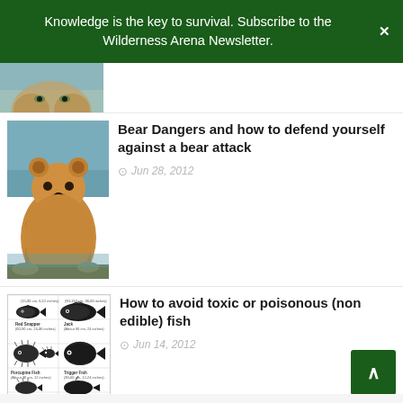Knowledge is the key to survival. Subscribe to the Wilderness Arena Newsletter.
[Figure (photo): Partial image of an animal (top of lion/cat face) cropped at top]
Bear Dangers and how to defend yourself against a bear attack
Jun 28, 2012
[Figure (photo): Brown grizzly bear standing facing forward near water]
How to avoid toxic or poisonous (non edible) fish
Jun 14, 2012
[Figure (illustration): Diagram of fish types showing Red Snapper, Jack, Porcupine Fish, Trigger Fish with size annotations]